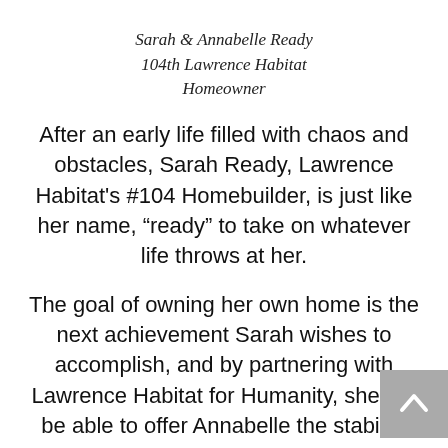Sarah & Annabelle Ready
104th Lawrence Habitat
Homeowner
After an early life filled with chaos and obstacles, Sarah Ready, Lawrence Habitat’s #104 Homebuilder, is just like her name, “ready” to take on whatever life throws at her.
The goal of owning her own home is the next achievement Sarah wishes to accomplish, and by partnering with Lawrence Habitat for Humanity, she will be able to offer Annabelle the stability she wants for her family. Sarah and Annabelle are both excited for...